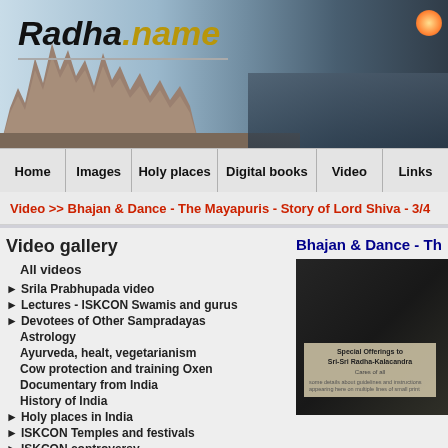[Figure (photo): Radha.name website banner with temple architecture and waterfront scene at dusk, with logo text 'Radha.name' in top left]
Home | Images | Holy places | Digital books | Video | Links
Video >> Bhajan & Dance - The Mayapuris - Story of Lord Shiva - 3/4
Video gallery
All videos
Srila Prabhupada video
Lectures - ISKCON Swamis and gurus
Devotees of Other Sampradayas
Astrology
Ayurveda, healt, vegetarianism
Cow protection and training Oxen
Documentary from India
History of India
Holy places in India
ISKCON Temples and festivals
ISKCON controversy
Bhajan & Dance - Th
[Figure (photo): Video thumbnail showing dark interior with a sign reading 'Special Offerings to Sri-Sri Radha-Kalacandra']